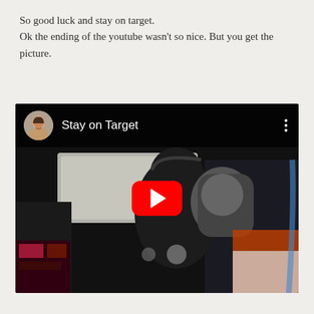So good luck and stay on target.
Ok the ending of the youtube wasn't so nice. But you get the picture.
[Figure (screenshot): Embedded YouTube video thumbnail showing 'Stay on Target' with a cockpit scene from what appears to be a Star Wars film. The video has a YouTube play button overlay, a user avatar (circular photo of a man), the title 'Stay on Target', and a three-dot menu icon.]